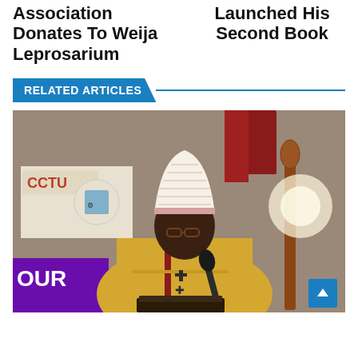Association Donates To Weija Leprosarium
Launched His Second Book
RELATED ARTICLES
[Figure (photo): A bishop wearing ceremonial robes and a tall mitre hat, standing at a microphone/podium, reading from a book. Background shows banners and a coat of arms.]